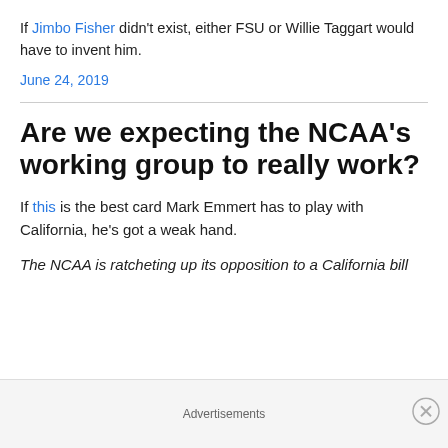If Jimbo Fisher didn't exist, either FSU or Willie Taggart would have to invent him.
June 24, 2019
Are we expecting the NCAA's working group to really work?
If this is the best card Mark Emmert has to play with California, he's got a weak hand.
The NCAA is ratcheting up its opposition to a California bill
Advertisements